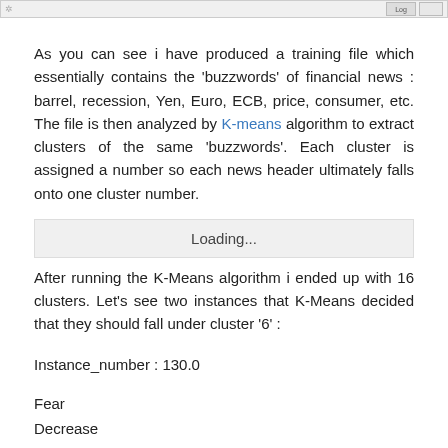[Figure (screenshot): Browser or application toolbar/menu bar at the top of the page]
As you can see i have produced a training file which essentially contains the 'buzzwords' of financial news : barrel, recession, Yen, Euro, ECB, price, consumer, etc. The file is then analyzed by K-means algorithm to extract clusters of the same 'buzzwords'. Each cluster is assigned a number so each news header ultimately falls onto one cluster number.
[Figure (screenshot): Loading... progress bar or status box]
After running the K-Means algorithm i ended up with 16 clusters. Let's see two instances that K-Means decided that they should fall under cluster '6' :
Instance_number : 130.0
Fear
Decrease
US